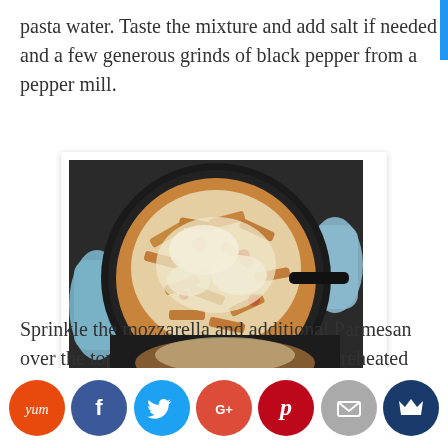pasta water. Taste the mixture and add salt if needed and a few generous grinds of black pepper from a pepper mill.
[Figure (photo): Overhead view of a cast iron skillet filled with penne pasta topped with melted mozzarella and parmesan cheese, held with blue oven mitts on a dark surface.]
Sprinkle the mozzarella and additional Parmesan over the top and put the skillet in your preheated oven.
[Figure (photo): Partial view of a skillet with cheesy pasta bake, partially obscured by social sharing buttons]
[Figure (infographic): Social sharing buttons row: Yummly (orange), Facebook (dark blue), Twitter (light blue), Google+ (red-orange), Pinterest (red), Email (gray), and a crown/unknown button (dark blue)]